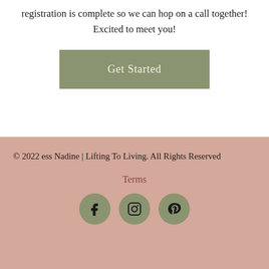registration is complete so we can hop on a call together! Excited to meet you!
[Figure (other): Get Started button — olive/sage green rounded rectangle with white serif text 'Get Started']
© 2022 ess Nadine | Lifting To Living. All Rights Reserved
Terms
[Figure (other): Three social media icon circles (Facebook, Instagram, Pinterest) in sage green on a dusty rose background]